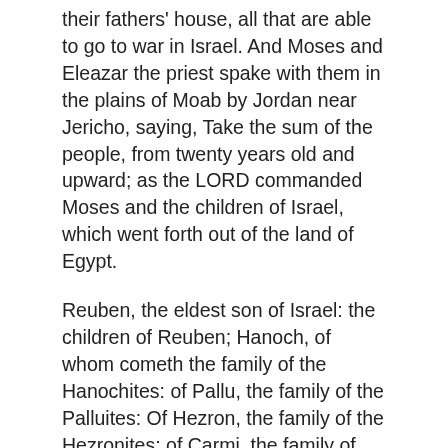their fathers' house, all that are able to go to war in Israel. And Moses and Eleazar the priest spake with them in the plains of Moab by Jordan near Jericho, saying, Take the sum of the people, from twenty years old and upward; as the LORD commanded Moses and the children of Israel, which went forth out of the land of Egypt.
Reuben, the eldest son of Israel: the children of Reuben; Hanoch, of whom cometh the family of the Hanochites: of Pallu, the family of the Palluites: Of Hezron, the family of the Hezronites: of Carmi, the family of the Carmites. These are the families of the Reubenites: and they that were numbered of them were forty and three thousand and seven hundred and thirty. And the sons of Pallu; Eliab. And the sons of Eliab; Nemuel, and Dathan, and Abiram. This is that Dathan and Abiram, which were famous in the congregation, who strove against Moses and against Aaron in the company of Korah, when they strove against the LORD: And the earth opened her mouth, and swallowed